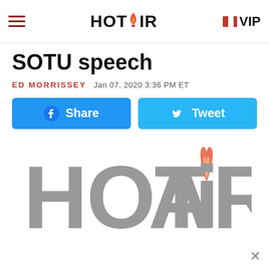HOT AiR | VIP
SOTU speech
ED MORRISSEY  Jan 07, 2020 3:36 PM ET
[Figure (infographic): Facebook Share button and Twitter Tweet button side by side]
[Figure (logo): Large HotAir logo in gray with flame icon replacing the dot of the letter i]